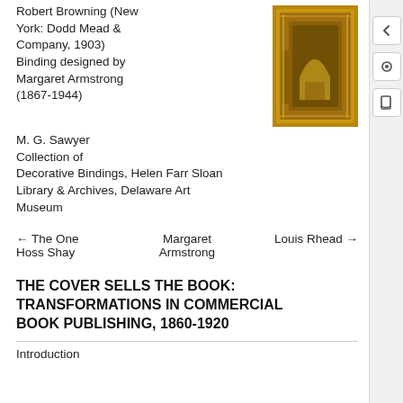Robert Browning (New York: Dodd Mead & Company, 1903) Binding designed by Margaret Armstrong (1867-1944)
[Figure (photo): Photograph of a decorative book binding, gold and ornate, standing upright.]
M. G. Sawyer Collection of Decorative Bindings, Helen Farr Sloan Library & Archives, Delaware Art Museum
← The One Hoss Shay
Margaret Armstrong
Louis Rhead →
THE COVER SELLS THE BOOK: TRANSFORMATIONS IN COMMERCIAL BOOK PUBLISHING, 1860-1920
Introduction